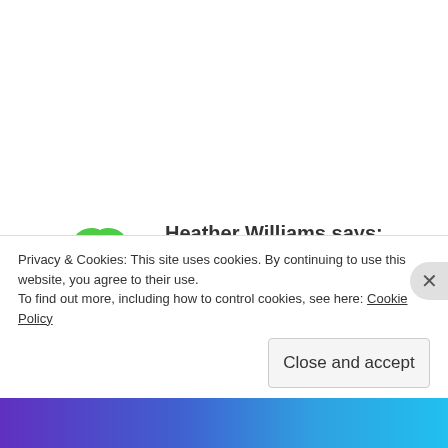[Figure (illustration): Green flower/cloud-shaped avatar icon for user Heather Williams]
Heather Williams says:
SEPTEMBER 1, 2013 AT 12:09 PM
I'm working with the English bulldog pattern from this book I've reached a point in the pattern that I'm unsure of. When knitting the head, I've reached the row right before you work in section.
It says purl. Bind off four sts at beg of next two
Privacy & Cookies: This site uses cookies. By continuing to use this website, you agree to their use.
To find out more, including how to control cookies, see here: Cookie Policy
Close and accept